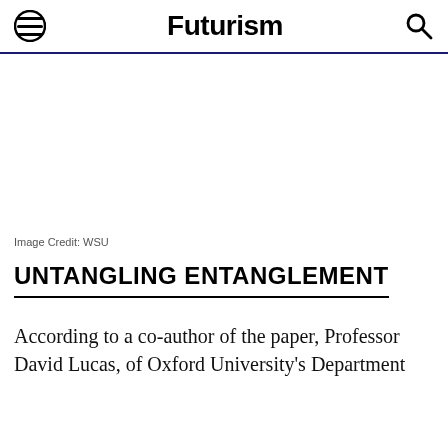Futurism
[Figure (other): White/blank image area with image credit WSU below]
Image Credit: WSU
UNTANGLING ENTANGLEMENT
According to a co-author of the paper, Professor David Lucas, of Oxford University's Department